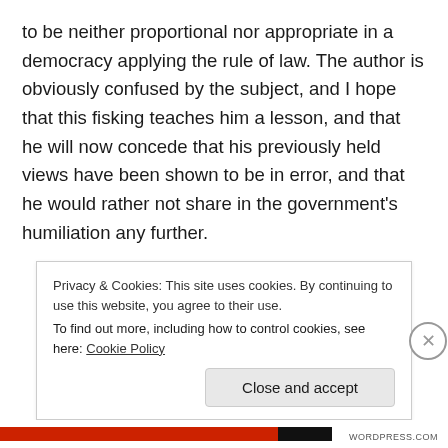to be neither proportional nor appropriate in a democracy applying the rule of law. The author is obviously confused by the subject, and I hope that this fisking teaches him a lesson, and that he will now concede that his previously held views have been shown to be in error, and that he would rather not share in the government's humiliation any further.
Privacy & Cookies: This site uses cookies. By continuing to use this website, you agree to their use. To find out more, including how to control cookies, see here: Cookie Policy
Close and accept